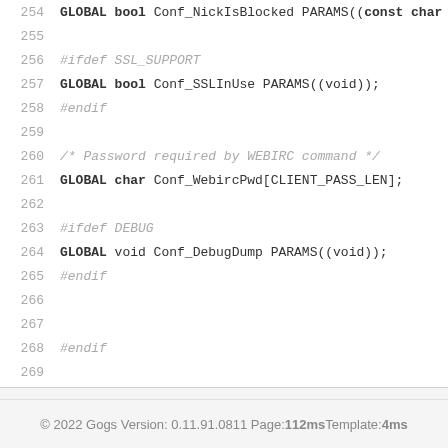[Figure (screenshot): Source code listing showing lines 254-271 of a C header file with function declarations and preprocessor directives]
© 2022 Gogs Version: 0.11.91.0811 Page: 112ms Template: 4ms